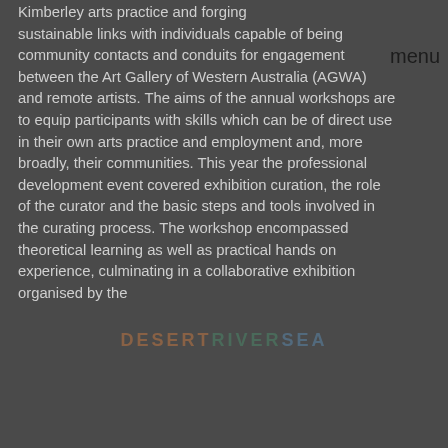Kimberley arts practice and forging sustainable links with individuals capable of being community contacts and conduits for engagement between the Art Gallery of Western Australia (AGWA) and remote artists. The aims of the annual workshops are to equip participants with skills which can be of direct use in their own arts practice and employment and, more broadly, their communities. This year the professional development event covered exhibition curation, the role of the curator and the basic steps and tools involved in the curating process. The workshop encompassed theoretical learning as well as practical hands on experience, culminating in a collaborative exhibition organised by the
[Figure (other): DESERTRIVERSEA watermark text overlaid on the page]
[Figure (other): Orange 'I Understand' button UI overlay]
A select group drawn from across the Kimberley attended; independent artists as well as others working in art centres and arts organisations. This year's group included: